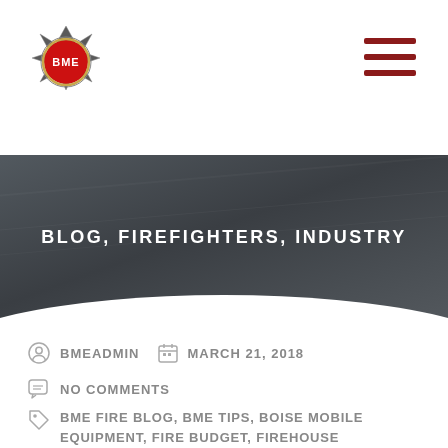[Figure (logo): BME fire equipment logo - maltese cross shape with BME text]
[Figure (other): Hamburger menu icon with three dark red horizontal bars]
BLOG, FIREFIGHTERS, INDUSTRY
BMEADMIN    MARCH 21, 2018
NO COMMENTS
BME FIRE BLOG, BME TIPS, BOISE MOBILE EQUIPMENT, FIRE BUDGET, FIREHOUSE